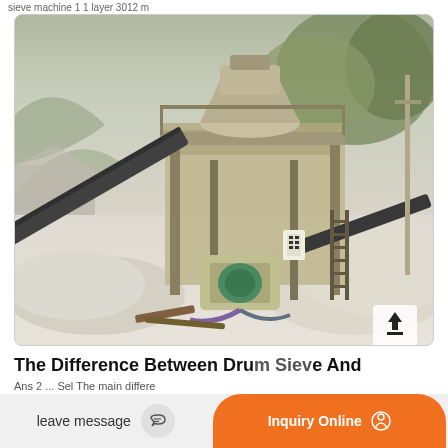sieve machine 1 1 layer 3012 m
[Figure (photo): Industrial stone crusher / quarry processing plant with conveyor belts, metal framework, ladders, and piles of crushed gravel/aggregate. Outdoor setting with hillside and trees in background.]
The Difference Between Drum Sieve And
leave message
Inquiry Online
Ans 2 ... Sel The main difference